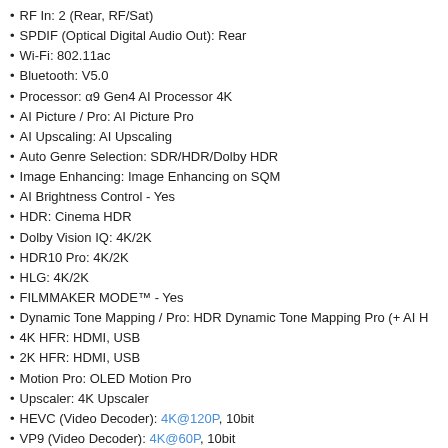RF In: 2 (Rear, RF/Sat)
SPDIF (Optical Digital Audio Out): Rear
Wi-Fi: 802.11ac
Bluetooth: V5.0
Processor: α9 Gen4 AI Processor 4K
AI Picture / Pro: AI Picture Pro
AI Upscaling: AI Upscaling
Auto Genre Selection: SDR/HDR/Dolby HDR
Image Enhancing: Image Enhancing on SQM
AI Brightness Control - Yes
HDR: Cinema HDR
Dolby Vision IQ: 4K/2K
HDR10 Pro: 4K/2K
HLG: 4K/2K
FILMMAKER MODE™ - Yes
Dynamic Tone Mapping / Pro: HDR Dynamic Tone Mapping Pro (+ AI H
4K HFR: HDMI, USB
2K HFR: HDMI, USB
Motion Pro: OLED Motion Pro
Upscaler: 4K Upscaler
HEVC (Video Decoder): 4K@120P, 10bit
VP9 (Video Decoder): 4K@60P, 10bit
AV1: 4K@60p, 10bit
G-Sync Compatible - Yes
FreeSyncTM - Yes
HGIG Mode - Yes